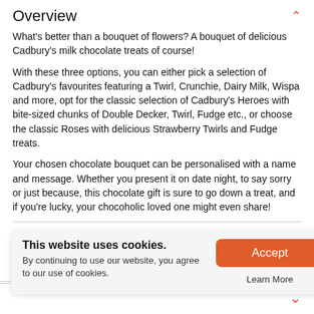Overview
What's better than a bouquet of flowers? A bouquet of delicious Cadbury's milk chocolate treats of course!
With these three options, you can either pick a selection of Cadbury's favourites featuring a Twirl, Crunchie, Dairy Milk, Wispa and more, opt for the classic selection of Cadbury's Heroes with bite-sized chunks of Double Decker, Twirl, Fudge etc., or choose the classic Roses with delicious Strawberry Twirls and Fudge treats.
Your chosen chocolate bouquet can be personalised with a name and message. Whether you present it on date night, to say sorry or just because, this chocolate gift is sure to go down a treat, and if you're lucky, your chocoholic loved one might even share!
About this product
This website uses cookies. By continuing to use our website, you agree to our use of cookies.